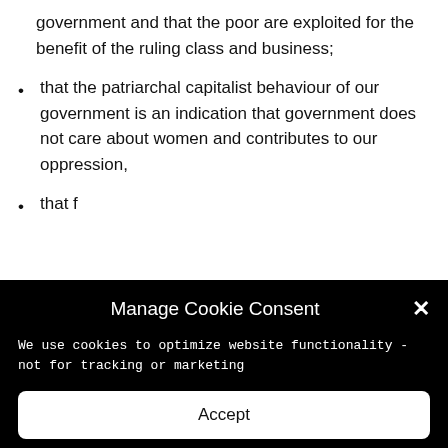government and that the poor are exploited for the benefit of the ruling class and business;
that the patriarchal capitalist behaviour of our government is an indication that government does not care about women and contributes to our oppression,
that f...
Manage Cookie Consent
We use cookies to optimize website functionality - not for tracking or marketing
Accept
Deny
Preferences